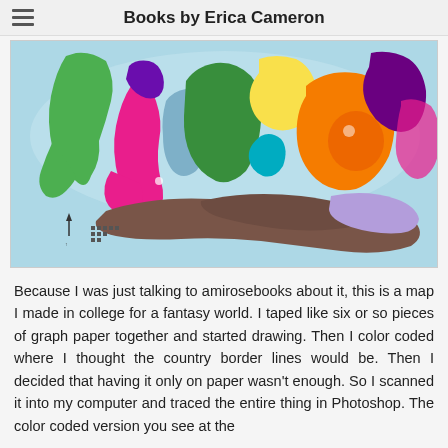Books by Erica Cameron
[Figure (map): A colorful fantasy world map with multiple regions color-coded in green, pink/red, purple, dark green, yellow, orange, blue, brown, lavender, and magenta. The map shows continent-like landmasses with country border lines. There is a compass arrow and scale bar in the lower left.]
Because I was just talking to amirosebooks about it, this is a map I made in college for a fantasy world. I taped like six or so pieces of graph paper together and started drawing. Then I color coded where I thought the country border lines would be. Then I decided that having it only on paper wasn't enough. So I scanned it into my computer and traced the entire thing in Photoshop. The color coded version you see at the